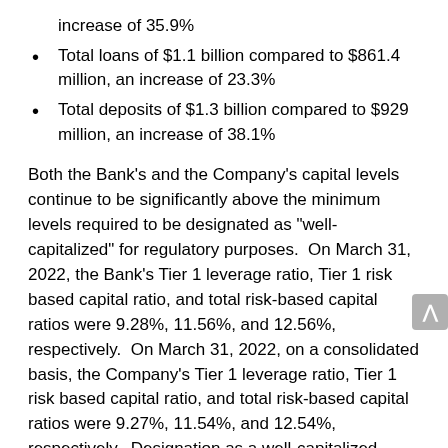increase of 35.9%
Total loans of $1.1 billion compared to $861.4 million, an increase of 23.3%
Total deposits of $1.3 billion compared to $929 million, an increase of 38.1%
Both the Bank's and the Company's capital levels continue to be significantly above the minimum levels required to be designated as "well-capitalized" for regulatory purposes.  On March 31, 2022, the Bank's Tier 1 leverage ratio, Tier 1 risk based capital ratio, and total risk-based capital ratios were 9.28%, 11.56%, and 12.56%, respectively.  On March 31, 2022, on a consolidated basis, the Company's Tier 1 leverage ratio, Tier 1 risk based capital ratio, and total risk-based capital ratios were 9.27%, 11.54%, and 12.54%, respectively.  Designation as a well-capitalized institution under regulations does not constitute a